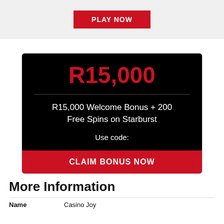[Figure (screenshot): Red PLAY NOW button on grey background at top of page]
[Figure (infographic): Casino bonus card with black background showing R15,000 in red, bonus description text in white, Use code label, and red CLAIM BONUS NOW button]
More Information
| Name |  |
| --- | --- |
| Name | Casino Joy |